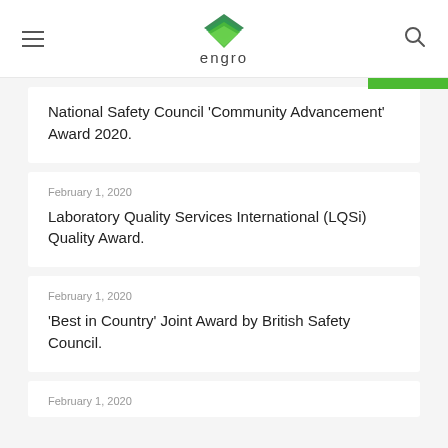engro
National Safety Council 'Community Advancement' Award 2020.
February 1, 2020
Laboratory Quality Services International (LQSi) Quality Award.
February 1, 2020
'Best in Country' Joint Award by British Safety Council.
February 1, 2020